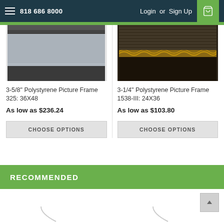818 686 8000   Login or Sign Up
[Figure (photo): Product image of 3-5/8 inch Polystyrene Picture Frame 325: 36X48 showing frame profile in grey/silver tone]
[Figure (photo): Product image of 3-1/4 inch Polystyrene Picture Frame 1538-III: 24X36 showing dark ornate frame profile]
3-5/8" Polystyrene Picture Frame 325: 36X48
As low as $236.24
CHOOSE OPTIONS
3-1/4" Polystyrene Picture Frame 1538-III: 24X36
As low as $103.80
CHOOSE OPTIONS
RECOMMENDED